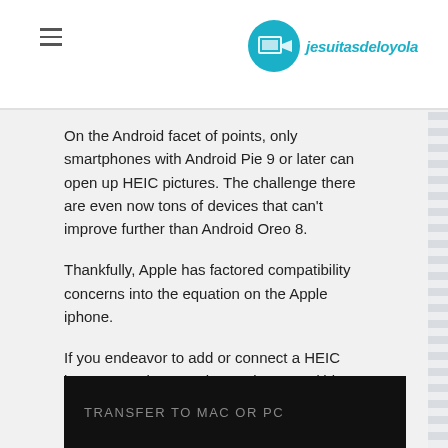jesuitasdeloyola
On the Android facet of points, only smartphones with Android Pie 9 or later can open up HEIC pictures. The challenge there are even now tons of devices that can't improve further than Android Oreo 8.
Thankfully, Apple has factored compatibility concerns into the equation on the Apple iphone.
If you endeavor to add or connect a HEIC image to native or 3rd-occasion apps (this sort of as Mail), iOS will instantly convert it to JPG.
Your Iphone should also convert HEIC documents to JPG when copying them to a Computer (or to a HEIC-incompatible Mac) in excess of USB manually. You can discover the placing that manages this beneath Configurations > Pics > Transfer to Mac or Computer.
[Figure (screenshot): Dark screenshot showing text 'TRANSFER TO MAC OR PC' in grey capital letters on black background]